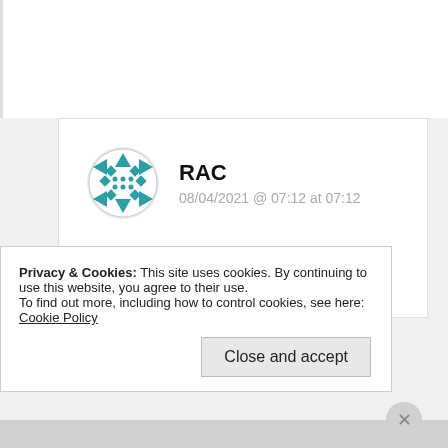★ Liked by 1 person
↪ Reply
RAC
08/04/2021 @ 07:12 at 07:12
I did a test post just a few seconds before you posted at 06:4? . My test
Privacy & Cookies: This site uses cookies. By continuing to use this website, you agree to their use. To find out more, including how to control cookies, see here: Cookie Policy
Close and accept